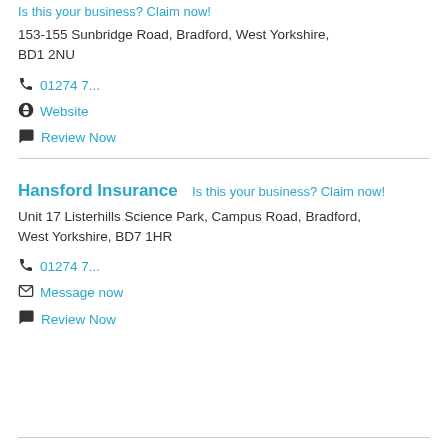Is this your business? Claim now!
153-155 Sunbridge Road, Bradford, West Yorkshire, BD1 2NU
01274 7...
Website
Review Now
Hansford Insurance   Is this your business? Claim now!
Unit 17 Listerhills Science Park, Campus Road, Bradford, West Yorkshire, BD7 1HR
01274 7...
Message now
Review Now